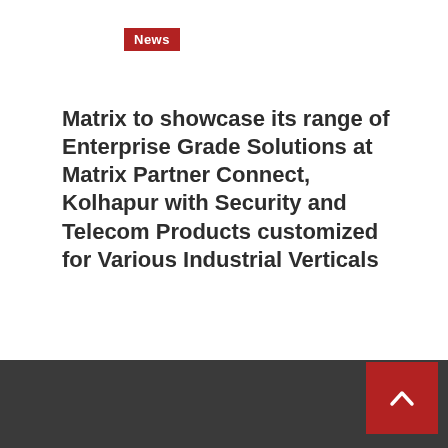News
Matrix to showcase its range of Enterprise Grade Solutions at Matrix Partner Connect, Kolhapur with Security and Telecom Products customized for Various Industrial Verticals
2 days ago  Saumya Sharma